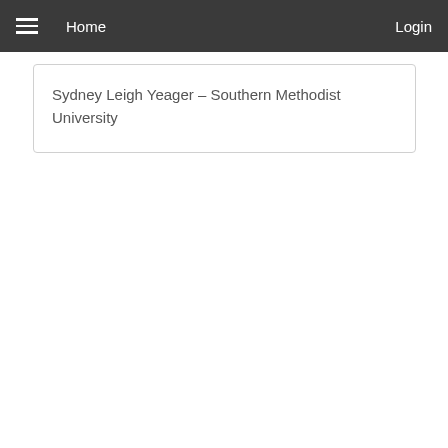Home   Login
Sydney Leigh Yeager – Southern Methodist University